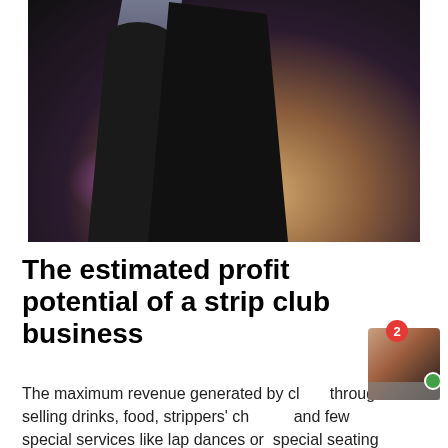[Figure (photo): Photo of performers in a nightclub/strip club setting with purple and warm stage lighting]
The estimated profit potential of a strip club business
The maximum revenue generated by clubs through selling drinks, food, strippers' charges and few special services like lap dances or special seating areas like Private dining rooms